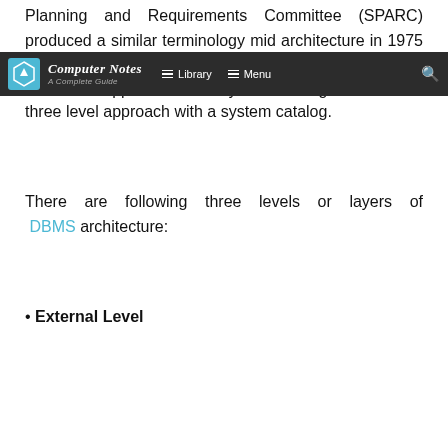Planning and Requirements Committee (SPARC) produced a similar terminology mid architecture in 1975 (ANSI 1975). ANSI-SPARC recognized the need for a three level approach with a system catalog.
Computer Notes – A Complete Guide | Library | Menu
There are following three levels or layers of DBMS architecture:
• External Level